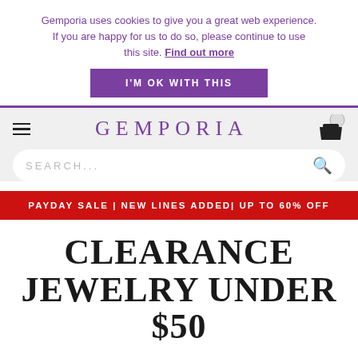Gemporia uses cookies to give you a great web experience. If you are happy for us to do so, please continue to use this site. Find out more
I'M OK WITH THIS
GEMPORIA
SEARCH...
PAYDAY SALE | NEW LINES ADDED| UP TO 60% OFF
CLEARANCE JEWELRY UNDER $50